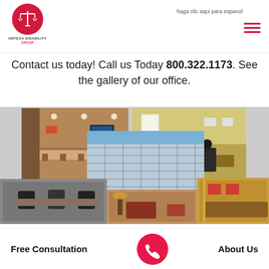Ortega Disability Group — haga clic aqui para espanol
[Figure (logo): Ortega Disability Group logo: red circle with scales of justice icon, text 'ORTEGA DISABILITY GROUP' below]
haga clic aqui para espanol
Contact us today! Call us Today 800.322.1173. See the gallery of our office.
[Figure (photo): Collage of office photos: lobby/bar area, office building exterior, conference room, waiting areas, reception desk]
Free Consultation
[Figure (illustration): Red circle phone icon button]
About Us